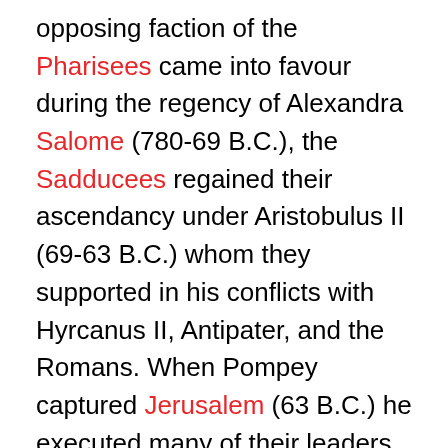opposing faction of the Pharisees came into favour during the regency of Alexandra Salome (780-69 B.C.), the Sadducees regained their ascendancy under Aristobulus II (69-63 B.C.) whom they supported in his conflicts with Hyrcanus II, Antipater, and the Romans. When Pompey captured Jerusalem (63 B.C.) he executed many of their leaders, as did also Herod the Idumean on his accession to power (37 B.C.). The Sadducees retained however, their traditional priestly functions and also a varying preponderance in the Sanhedrin, but even in this respect their influence was much diminished through the policy of Herod and later of the Roman procurators of Judea, who, arbitrarily